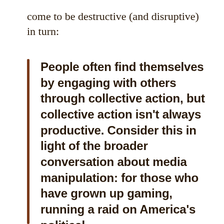come to be destructive (and disruptive) in turn:
People often find themselves by engaging with others through collective action, but collective action isn't always productive. Consider this in light of the broader conversation about media manipulation: for those who have grown up gaming, running a raid on America's political